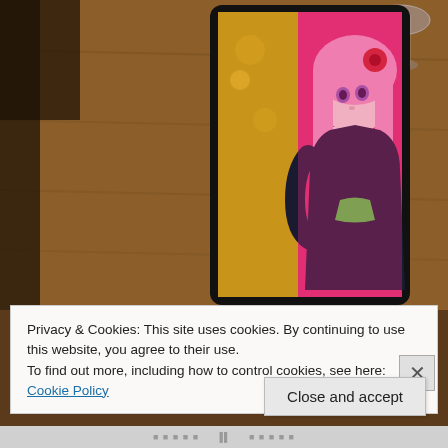[Figure (photo): A smartphone or tablet device sitting on a wooden table, displaying an anime-style illustration of a pink-haired female character wearing a dark bodysuit with green accents, with a red flower in her hair, against a pink and gold floral background. The word 'ANEMONE' is visible vertically on the left side of the device screen. Wine glasses are partially visible in the upper right background.]
Privacy & Cookies: This site uses cookies. By continuing to use this website, you agree to their use.
To find out more, including how to control cookies, see here: Cookie Policy